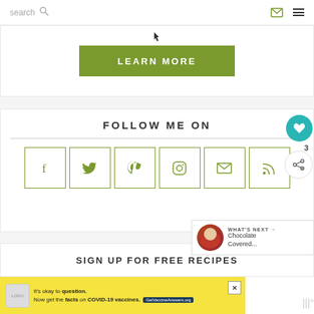search
[Figure (screenshot): Green LEARN MORE button on white background]
FOLLOW ME ON
[Figure (infographic): Social media icon buttons: Facebook, Twitter, Pinterest, Instagram, Email, RSS]
[Figure (infographic): WHAT'S NEXT arrow with thumbnail and text: Chocolate Covered...]
SIGN UP FOR FREE RECIPES
[Figure (screenshot): Ad banner: It's okay to question. Now get the facts on COVID-19 vaccines. GetVaccineAnswers.org]